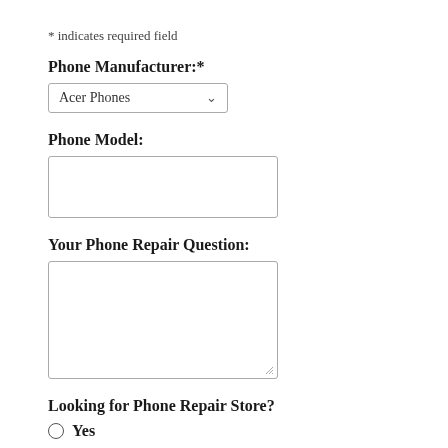* indicates required field
Phone Manufacturer:*
Acer Phones [dropdown]
Phone Model:
[text input box]
Your Phone Repair Question:
[textarea input box]
Looking for Phone Repair Store?
Yes